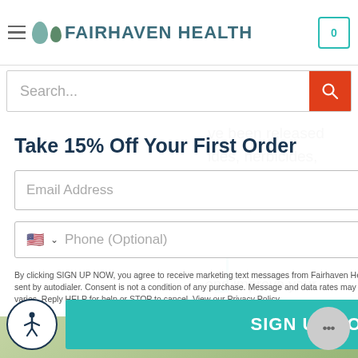[Figure (screenshot): Fairhaven Health website header with hamburger menu, logo, and cart icon]
Search...
Take 15% Off Your First Order
Email Address
Phone (Optional)
By clicking SIGN UP NOW, you agree to receive marketing text messages from Fairhaven Health at the number provided, including messages sent by autodialer. Consent is not a condition of any purchase. Message and data rates may apply. U.S. users only. Message frequency varies. Reply HELP for help or STOP to cancel. View our Privacy Policy.
ve been released ides, herbicides, and other varies, and other
end improve your with our advertising ur site, you accept our cy.
SIGN UP NOW